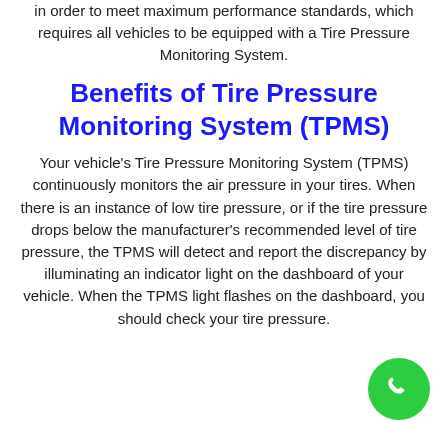in order to meet maximum performance standards, which requires all vehicles to be equipped with a Tire Pressure Monitoring System.
Benefits of Tire Pressure Monitoring System (TPMS)
Your vehicle's Tire Pressure Monitoring System (TPMS) continuously monitors the air pressure in your tires. When there is an instance of low tire pressure, or if the tire pressure drops below the manufacturer's recommended level of tire pressure, the TPMS will detect and report the discrepancy by illuminating an indicator light on the dashboard of your vehicle. When the TPMS light flashes on the dashboard, you should check your tire pressure.